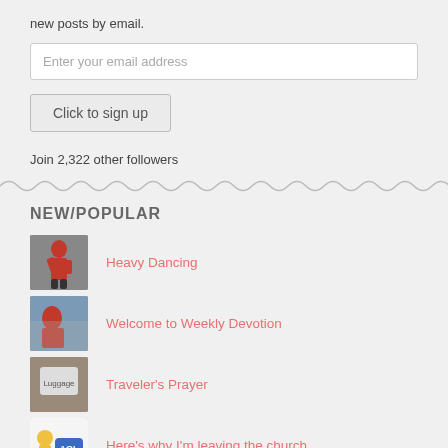new posts by email.
Enter your email address
Click to sign up
Join 2,322 other followers
NEW/POPULAR
Heavy Dancing
Welcome to Weekly Devotion
Traveler's Prayer
Here's why I'm leaving the church.
HDIL?